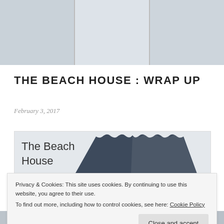[Figure (photo): Top banner showing interior rooms of a beach house miniature, with white chairs, plants, blue rug, bar stools, and white decor items.]
THE BEACH HOUSE : WRAP UP
February 3, 2017
[Figure (photo): Image of a dollhouse beach house miniature with 'The Beach House' text overlay and dark navy scalloped roof triangle shape.]
Privacy & Cookies: This site uses cookies. By continuing to use this website, you agree to their use.
To find out more, including how to control cookies, see here: Cookie Policy
[Figure (photo): Bottom strip showing more rooms of the beach house miniature.]